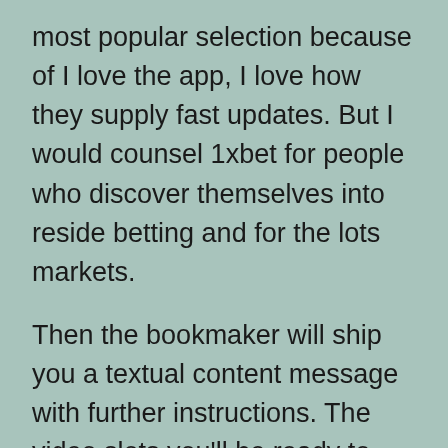most popular selection because of I love the app, I love how they supply fast updates. But I would counsel 1xbet for people who discover themselves into reside betting and for the lots markets.
Then the bookmaker will ship you a textual content message with further instructions. The video slots you'll be ready to play with bet365 have decisions much like free spins, cascading reels, rising wilds, in-sport animations, and additional. The bet365 poker half isn't solely good high quality, nonetheless it's furthermore terrible, ...